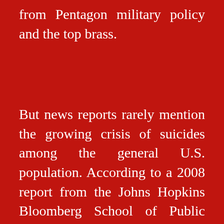from Pentagon military policy and the top brass.
But news reports rarely mention the growing crisis of suicides among the general U.S. population. According to a 2008 report from the Johns Hopkins Bloomberg School of Public Health, U.S. suicides are on the rise for the first time in a decade. A report by the American Association of Suicidology shows that suicides figures for 2005 outnumbered homicides by almost two to one, ranking suicides as the 11th cause of death in the United States.